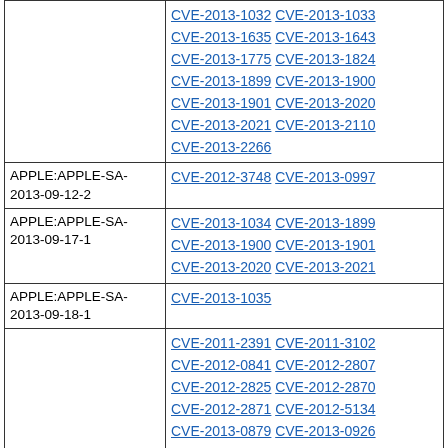| Advisory | CVEs |
| --- | --- |
|  | CVE-2013-1032 CVE-2013-1033 CVE-2013-1635 CVE-2013-1643 CVE-2013-1775 CVE-2013-1824 CVE-2013-1899 CVE-2013-1900 CVE-2013-1901 CVE-2013-2020 CVE-2013-2021 CVE-2013-2110 CVE-2013-2266 |
| APPLE:APPLE-SA-2013-09-12-2 | CVE-2012-3748 CVE-2013-0997 |
| APPLE:APPLE-SA-2013-09-17-1 | CVE-2013-1034 CVE-2013-1899 CVE-2013-1900 CVE-2013-1901 CVE-2013-2020 CVE-2013-2021 |
| APPLE:APPLE-SA-2013-09-18-1 | CVE-2013-1035 |
|  | CVE-2011-2391 CVE-2011-3102 CVE-2012-0841 CVE-2012-2807 CVE-2012-2825 CVE-2012-2870 CVE-2012-2871 CVE-2012-5134 CVE-2013-0879 CVE-2013-0926 CVE-2013-0957 CVE-2013-0991 CVE-2013-0992 CVE-2013-0993 CVE-2013-0994 CVE-2013-0995 |